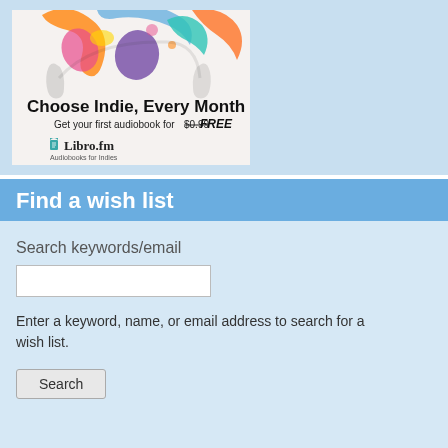[Figure (illustration): Libro.fm advertisement banner: colorful watercolor headphones art at top, text 'Choose Indie, Every Month', 'Get your first audiobook for $0.99 FREE', Libro.fm logo and tagline 'Audiobooks for Indies']
Find a wish list
Search keywords/email
Enter a keyword, name, or email address to search for a wish list.